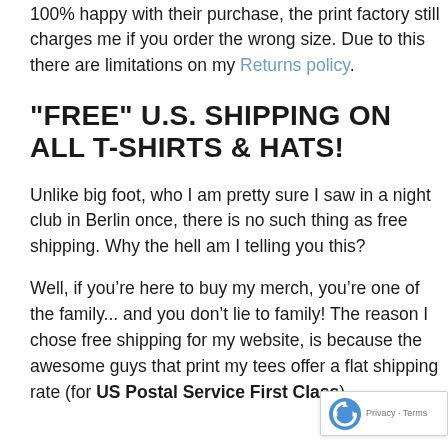100% happy with their purchase, the print factory still charges me if you order the wrong size. Due to this there are limitations on my Returns policy.
"FREE" U.S. SHIPPING ON ALL T-SHIRTS & HATS!
Unlike big foot, who I am pretty sure I saw in a night club in Berlin once, there is no such thing as free shipping. Why the hell am I telling you this?
Well, if you’re here to buy my merch, you’re one of the family... and you don’t lie to family! The reason I chose free shipping for my website, is because the awesome guys that print my tees offer a flat shipping rate (for US Postal Service First Class).